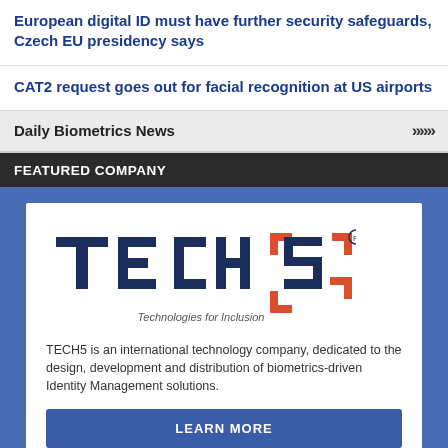European digital ID must have further security safeguards, Czech EU presidency says
CAT2 request goes out for facial recognition at US airports
Daily Biometrics News
FEATURED COMPANY
[Figure (logo): TECH5 logo with tagline 'Technologies for Inclusion' and a red bracket frame icon]
TECH5 is an international technology company, dedicated to the design, development and distribution of biometrics-driven Identity Management solutions.
LEARN MORE